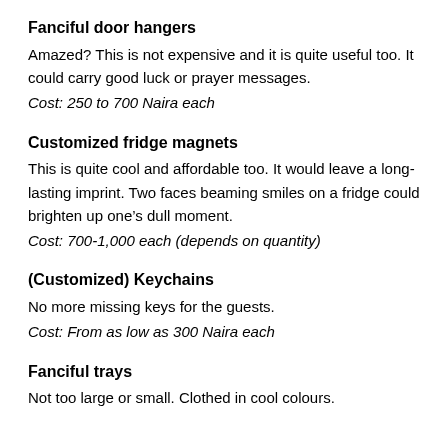Fanciful door hangers
Amazed? This is not expensive and it is quite useful too. It could carry good luck or prayer messages.
Cost: 250 to 700 Naira each
Customized fridge magnets
This is quite cool and affordable too. It would leave a long-lasting imprint. Two faces beaming smiles on a fridge could brighten up one’s dull moment.
Cost: 700-1,000 each (depends on quantity)
(Customized) Keychains
No more missing keys for the guests.
Cost: From as low as 300 Naira each
Fanciful trays
Not too large or small. Clothed in cool colours.